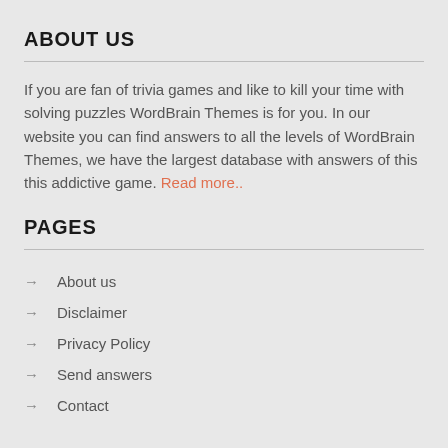ABOUT US
If you are fan of trivia games and like to kill your time with solving puzzles WordBrain Themes is for you. In our website you can find answers to all the levels of WordBrain Themes, we have the largest database with answers of this this addictive game. Read more..
PAGES
About us
Disclaimer
Privacy Policy
Send answers
Contact